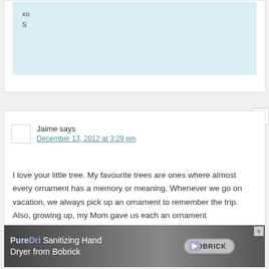xo
S
Jaime says
December 13, 2012 at 3:29 pm
I love your little tree. My favourite trees are ones where almost every ornament has a memory or meaning. Whenever we go on vacation, we always pick up an ornament to remember the trip. Also, growing up, my Mom gave us each an ornament every year…
[Figure (screenshot): Advertisement banner for PureDri Sanitizing Hand Dryer from Bobrick with close button]